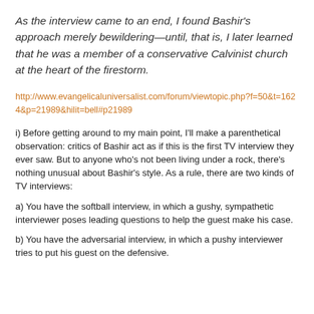As the interview came to an end, I found Bashir’s approach merely bewildering—until, that is, I later learned that he was a member of a conservative Calvinist church at the heart of the firestorm.
http://www.evangelicaluniversalist.com/forum/viewtopic.php?f=50&t=1624&p=21989&hilit=bell#p21989
i) Before getting around to my main point, I’ll make a parenthetical observation: critics of Bashir act as if this is the first TV interview they ever saw. But to anyone who’s not been living under a rock, there’s nothing unusual about Bashir’s style. As a rule, there are two kinds of TV interviews:
a) You have the softball interview, in which a gushy, sympathetic interviewer poses leading questions to help the guest make his case.
b) You have the adversarial interview, in which a pushy interviewer tries to put his guest on the defensive.